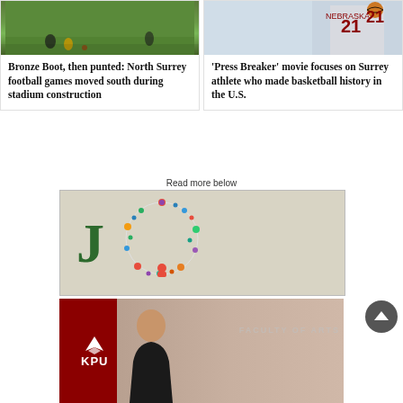[Figure (photo): Football game action photo showing players on green grass field]
Bronze Boot, then punted: North Surrey football games moved south during stadium construction
[Figure (photo): Basketball player wearing Nebraska jersey #21 holding a basketball]
‘Press Breaker’ movie focuses on Surrey athlete who made basketball history in the U.S.
Read more below
[Figure (illustration): Job advertisement banner with large green J and colorful circular icon cluster]
[Figure (photo): KPU (Kwantlen Polytechnic University) advertisement banner with logo and person photo]